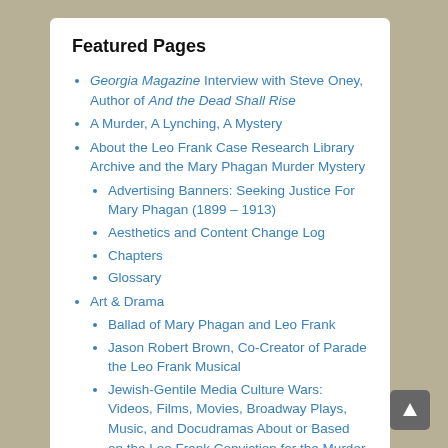Featured Pages
Georgia Magazine Interview with Steve Oney, Author of And the Dead Shall Rise
A Murder, A Lynching, A Mystery
About the Leo Frank Case Research Library Archive and the Mary Phagan Murder Mystery
Advertising Banners: Seeking Justice For Mary Phagan (1899 – 1913)
Aesthetics and Content Change Log
Chapters
Glossary
Art & Drama
Ballad of Mary Phagan and Leo Frank
Jason Robert Brown, Co-Creator of Parade the Leo Frank Musical
Jewish-Gentile Media Culture Wars: Videos, Films, Movies, Broadway Plays, Music, and Docudramas About or Based on the Leo Frank Conviction for the Murder of Mary Phagan
Leo Frank Documentary and Film Review: People